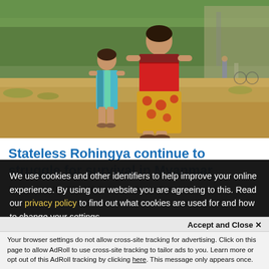[Figure (photo): A woman in a red top and floral skirt standing next to a young girl in a colorful dress on a dirt field, with green trees and a wall in the background]
Stateless Rohingya continue to struggle for survival in Myanmar
Five years after 700,000 Rohingya fled to Bangladesh, and
We use cookies and other identifiers to help improve your online experience. By using our website you are agreeing to this. Read our privacy policy to find out what cookies are used for and how to change your settings.
Accept and Close ×
Your browser settings do not allow cross-site tracking for advertising. Click on this page to allow AdRoll to use cross-site tracking to tailor ads to you. Learn more or opt out of this AdRoll tracking by clicking here. This message only appears once.